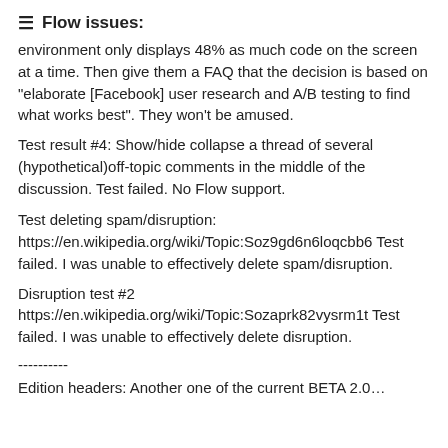Flow issues:
environment only displays 48% as much code on the screen at a time. Then give them a FAQ that the decision is based on "elaborate [Facebook] user research and A/B testing to find what works best". They won't be amused.
Test result #4: Show/hide collapse a thread of several (hypothetical)off-topic comments in the middle of the discussion. Test failed. No Flow support.
Test deleting spam/disruption:
https://en.wikipedia.org/wiki/Topic:Soz9gd6n6loqcbb6 Test failed. I was unable to effectively delete spam/disruption.
Disruption test #2
https://en.wikipedia.org/wiki/Topic:Sozaprk82vysrm1t Test failed. I was unable to effectively delete disruption.
----------
Edition headers: Another one of the current BETA 2.0...